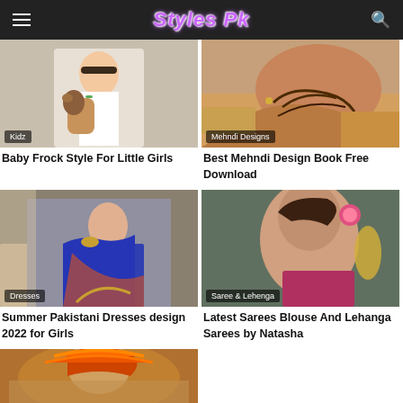Styles Pk
[Figure (photo): Child in white dress holding a teddy bear, Kidz category]
Baby Frock Style For Little Girls
[Figure (photo): Mehndi/henna design on hand, Mehndi Designs category]
Best Mehndi Design Book Free Download
[Figure (photo): Woman in blue Pakistani dress, Dresses category]
Summer Pakistani Dresses design 2022 for Girls
[Figure (photo): Woman with pink flower in hair and jewelry, Saree & Lehenga category]
Latest Sarees Blouse And Lehanga Sarees by Natasha
[Figure (photo): Person in traditional attire with orange and red decoration]